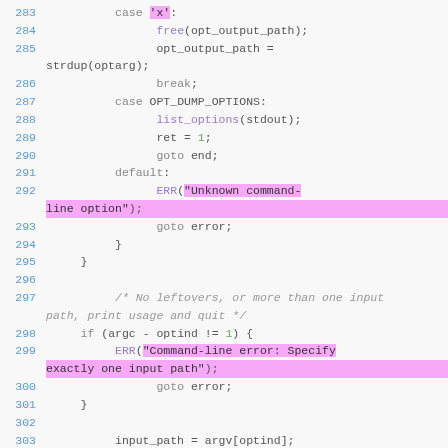Source code listing, lines 283-303, C language